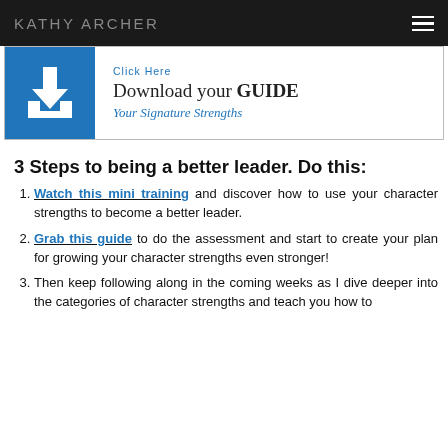KATHY ARCHER
[Figure (infographic): Blue banner with download icon on left and text 'Click Here / Download your GUIDE / Your Signature Strengths' on right]
3 Steps to being a better leader. Do this:
Watch this mini training and discover how to use your character strengths to become a better leader.
Grab this guide to do the assessment and start to create your plan for growing your character strengths even stronger!
Then keep following along in the coming weeks as I dive deeper into the categories of character strengths and teach you how to